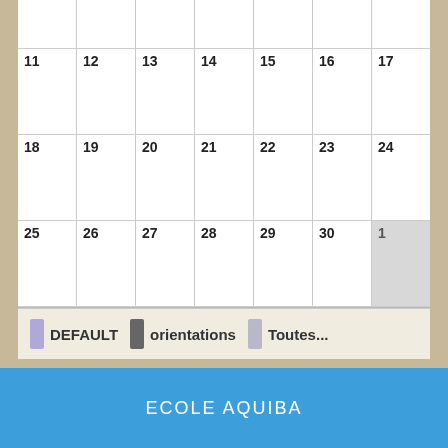|  |  |  |  |  |  |  |
| --- | --- | --- | --- | --- | --- | --- |
| 11 | 12 | 13 | 14 | 15 | 16 | 17 |
| 18 | 19 | 20 | 21 | 22 | 23 | 24 |
| 25 | 26 | 27 | 28 | 29 | 30 | 1 |
DEFAULT   orientations   Toutes...
ECOLE AQUIBA